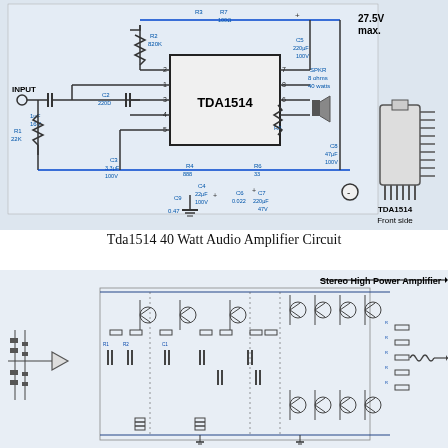[Figure (circuit-diagram): TDA1514 40 Watt Audio Amplifier circuit schematic showing INPUT with C1 (1uF 16V), R1 (22K), R2 (820K), C2 (220), C3 (3.3uF 100V), R4 (888), C4 (22uF 100V), R3, R7 (100 ohm), C5 (220uF 100V), SPKR (8 ohms 40 watts), R5, R6 (33), C6 (0.022), C7 (220uF 47V), C8 (47uF 100V), C9 (0.47), with TDA1514 IC at center and IC package diagram labeled TDA1514 Front side, supply voltage 27.5V max.]
Tda1514 40 Watt Audio Amplifier Circuit
[Figure (circuit-diagram): Stereo High Power Amplifier circuit schematic showing a complex transistor-based amplifier with op-amp input stage, multiple transistor pairs, resistors and capacitors throughout, labeled 'Stereo High Power Amplifier' at top right.]